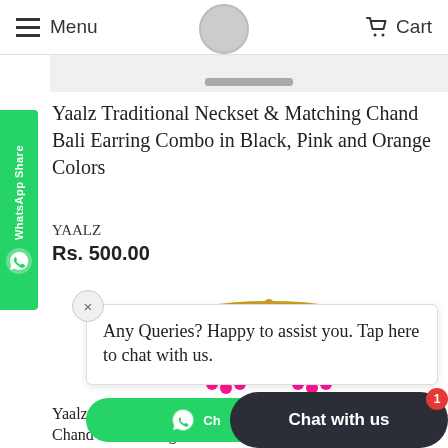Menu  Cart
Yaalz Traditional Neckset & Matching Chand Bali Earring Combo in Black, Pink and Orange Colors
YAALZ
Rs. 500.00
[Figure (photo): Photo of colorful Chand Bali earrings with neckset in pink, green, and yellow colors with gold border]
Any Queries? Happy to assist you. Tap here to chat with us.
Chat with us
Yaalz Traditional Neckset & Matching Chand Bali Earring Combo in Rani Pink